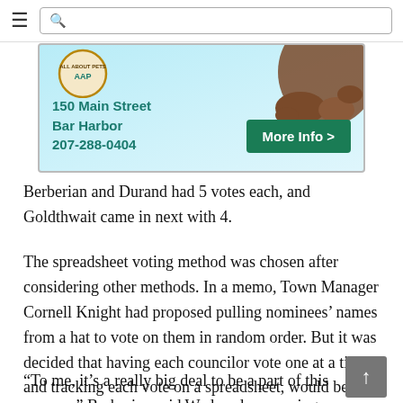≡  [search bar]
[Figure (illustration): Advertisement for All About Pets pet store, showing a dog's paw, store logo, address '150 Main Street, Bar Harbor, 207-288-0404', and a 'More Info >' green button, on a light blue background.]
Berberian and Durand had 5 votes each, and Goldthwait came in next with 4.
The spreadsheet voting method was chosen after considering other methods. In a memo, Town Manager Cornell Knight had proposed pulling nominees' names from a hat to vote on them in random order. But it was decided that having each councilor vote one at a time, and tracking each vote on a spreadsheet, would be simpler.
“To me, it’s a really big deal to be a part of this process,” Berberian said Wednesday morning. From